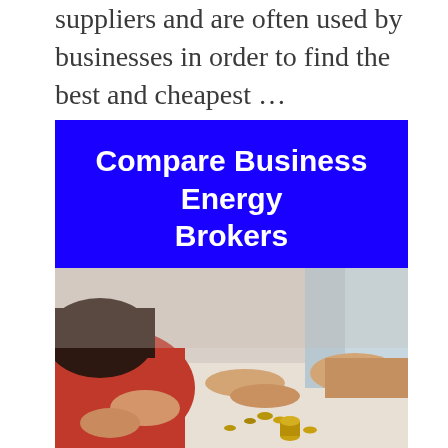suppliers and are often used by businesses in order to find the best and cheapest …
[Figure (other): Blue banner button with white bold text reading 'Compare Business Energy Brokers']
[Figure (photo): Photo of people counting coins on a table, one person wearing a red top]